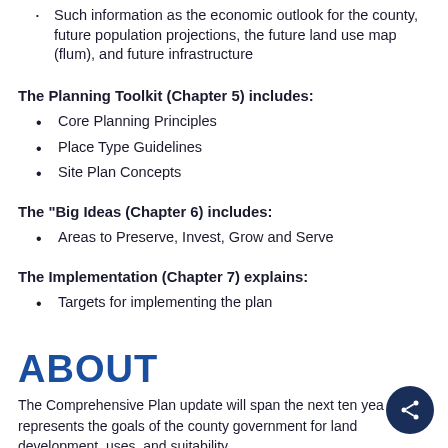Such information as the economic outlook for the county, future population projections, the future land use map (flum), and future infrastructure
The Planning Toolkit (Chapter 5) includes:
Core Planning Principles
Place Type Guidelines
Site Plan Concepts
The "Big Ideas (Chapter 6) includes:
Areas to Preserve, Invest, Grow and Serve
The Implementation (Chapter 7) explains:
Targets for implementing the plan
ABOUT
The Comprehensive Plan update will span the next ten years and represents the goals of the county government for land development, uses, and suitability.